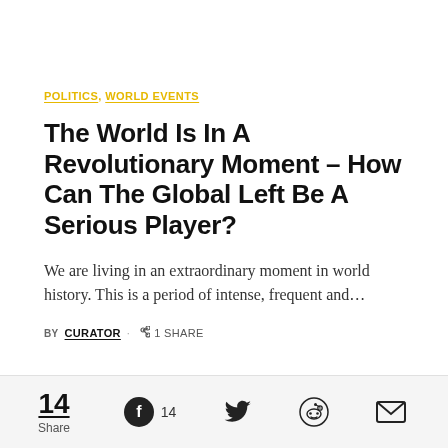POLITICS, WORLD EVENTS
The World Is In A Revolutionary Moment – How Can The Global Left Be A Serious Player?
We are living in an extraordinary moment in world history. This is a period of intense, frequent and…
BY CURATOR · 1 SHARE
14 Share  14  (Facebook, Twitter, Reddit, Email icons)